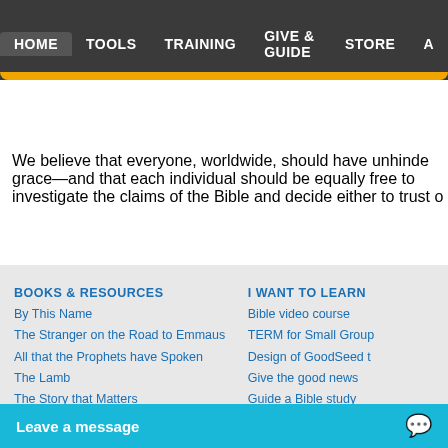HOME  TOOLS  TRAINING  GIVE & GUIDE  STORE  A
VIEW SITE INDEX  EN
We believe that everyone, worldwide, should have unhinde grace—and that each individual should be equally free to investigate the claims of the Bible and decide either to trust o
BOOKS & RESOURCES
By This Name
The Stranger on the Road to Emmaus
All that the Prophets have Spoken
The Lamb
The Story that Matters
What are Christmas & Easter All About?
In-ká-hai: How Sweet It I
I WANT TO LEARN
Bible video course
TERM for Small Group
Design of GoodSeed t
Give the good news
Guide a Bible study
How to articles
Leave a message